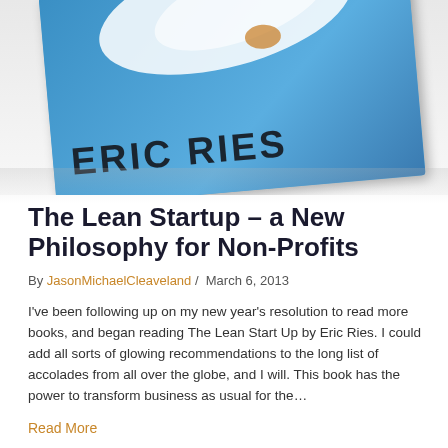[Figure (photo): Close-up of a book cover showing 'ERIC RIES' in bold dark letters on a blue background with a white swirl/logo at the top, tilted at a slight angle.]
The Lean Startup – a New Philosophy for Non-Profits
By JasonMichaelCleaveland / March 6, 2013
I've been following up on my new year's resolution to read more books, and began reading The Lean Start Up by Eric Ries. I could add all sorts of glowing recommendations to the long list of accolades from all over the globe, and I will. This book has the power to transform business as usual for the…
Read More